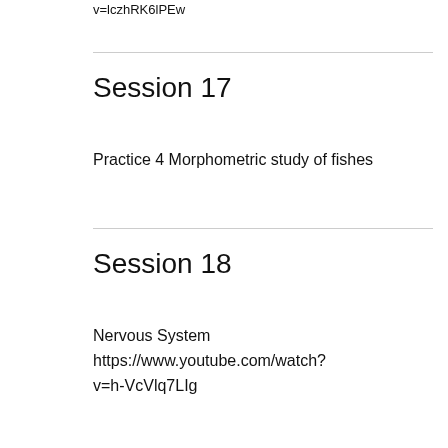v=lczhRK6lPEw
Session 17
Practice 4 Morphometric study of fishes
Session 18
Nervous System
https://www.youtube.com/watch?v=h-VcVlq7LIg